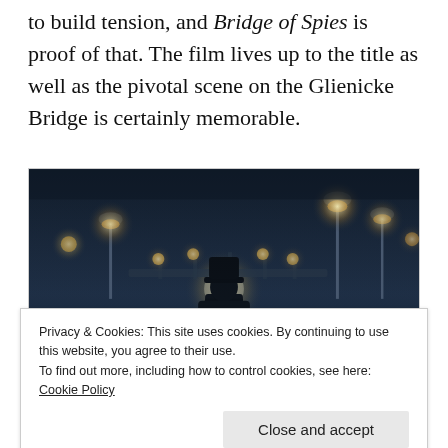to build tension, and Bridge of Spies is proof of that. The film lives up to the title as well as the pivotal scene on the Glienicke Bridge is certainly memorable.
[Figure (photo): Dark cinematic still from Bridge of Spies showing a silhouette of a man in a coat and hat standing on a bridge at night, with glowing street lamps and a blue-tinted foggy atmosphere.]
Privacy & Cookies: This site uses cookies. By continuing to use this website, you agree to their use.
To find out more, including how to control cookies, see here: Cookie Policy
Close and accept
Tom Hanks is perfectly cast as James B.